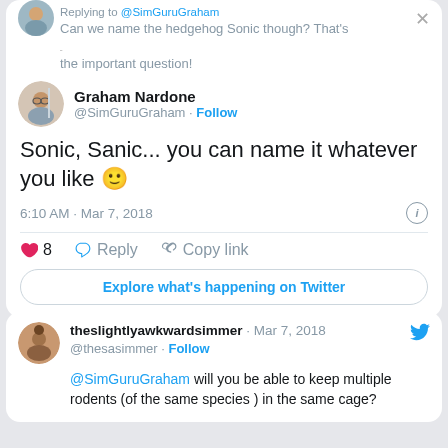Replying to @SimGuruGraham
Can we name the hedgehog Sonic though? That's the important question!
Graham Nardone @SimGuruGraham · Follow
Sonic, Sanic... you can name it whatever you like 🙂
6:10 AM · Mar 7, 2018
8  Reply  Copy link
Explore what's happening on Twitter
theslightlyawkwardsimmer · Mar 7, 2018 @thesasimmer · Follow @SimGuruGraham will you be able to keep multiple rodents (of the same species ) in the same cage?